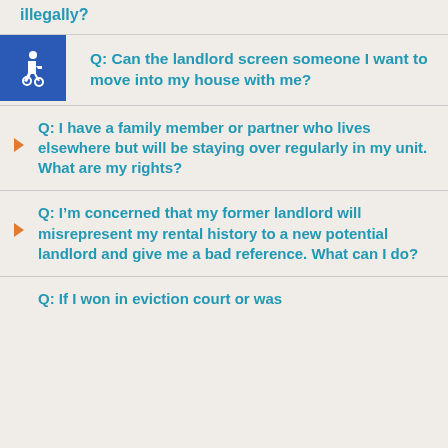illegally?
Q: Can the landlord screen someone I want to move into my house with me?
Q: I have a family member or partner who lives elsewhere but will be staying over regularly in my unit. What are my rights?
Q: I’m concerned that my former landlord will misrepresent my rental history to a new potential landlord and give me a bad reference. What can I do?
Q: If I won in eviction court or was